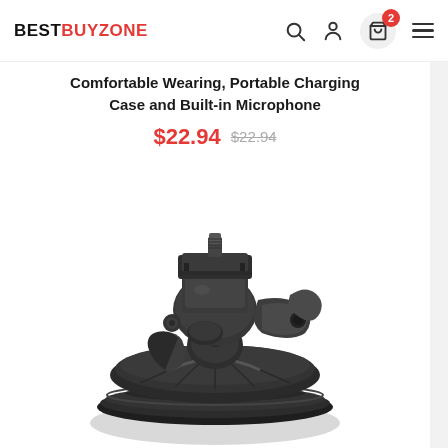BESTBUYZONE
Comfortable Wearing, Portable Charging Case and Built-in Microphone
$22.94  $22.94
[Figure (photo): Dark gray/black suction cup camera mount with articulating ball head and screw mount on top, photographed on white background]